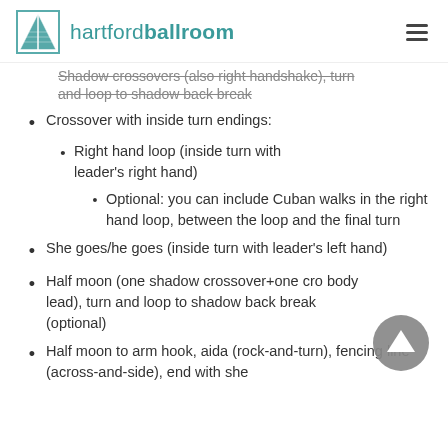hartfordballroom
Shadow crossovers (also right handshake), turn and loop to shadow back break
Crossover with inside turn endings:
Right hand loop (inside turn with leader's right hand)
Optional: you can include Cuban walks in the right hand loop, between the loop and the final turn
She goes/he goes (inside turn with leader's left hand)
Half moon (one shadow crossover+one crossover body lead), turn and loop to shadow back break (optional)
Half moon to arm hook, aida (rock-and-turn), fencing line (across-and-side), end with she